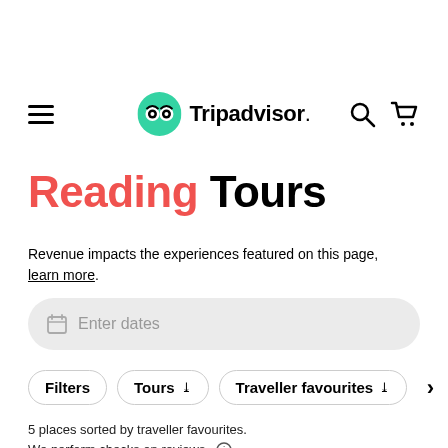[Figure (logo): Tripadvisor logo with green owl icon and wordmark]
Reading Tours
Revenue impacts the experiences featured on this page, learn more.
Enter dates (date input field)
Filters  Tours ▾  Traveller favourites ▾
5 places sorted by traveller favourites. We perform checks on reviews.